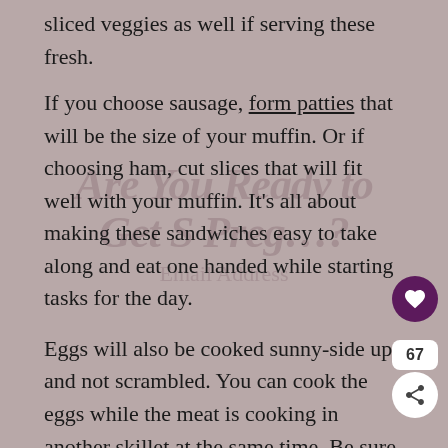sliced veggies as well if serving these fresh.
If you choose sausage, form patties that will be the size of your muffin. Or if choosing ham, cut slices that will fit well with your muffin. It's all about making these sandwiches easy to take along and eat one handed while starting tasks for the day.
Eggs will also be cooked sunny-side up and not scrambled. You can cook the eggs while the meat is cooking in another skillet at the same time. Be sure that both meat and eggs are cooked all the way through.
Prepare large squares of aluminum foil and set an English muffin bottom on each square. Place meat, sliced cheese and veggie slices on top of the muffin.